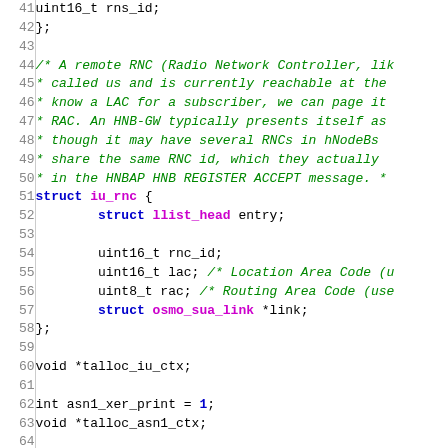Source code listing showing C struct definitions and variable declarations, lines 41-68